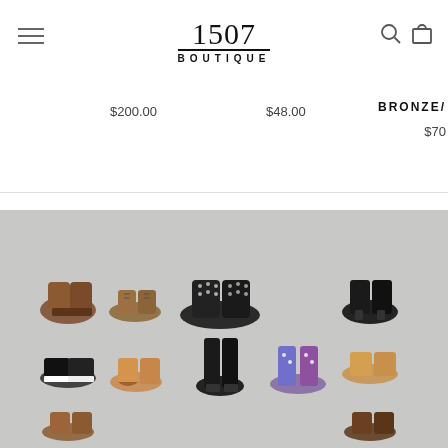1507 BOUTIQUE
$200.00
$48.00
BRONZE/
$70
[Figure (photo): Collection of various shoes and boots displayed on a grey background, arranged in two rows showing ankle boots, lace-up shoes, studded boots, black heeled boots, sneakers, wedge boots, tall black riding boots, colorful rain boots, tan ankle boots, brown ankle boots, and brown chelsea boots.]